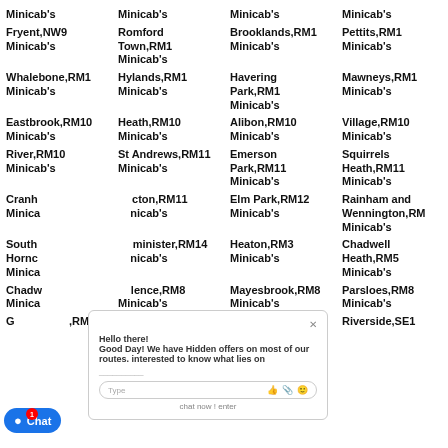Minicab's
Minicab's
Minicab's
Minicab's
Fryent,NW9 Minicab's
Romford Town,RM1 Minicab's
Brooklands,RM1 Minicab's
Pettits,RM1 Minicab's
Whalebone,RM1 Minicab's
Hylands,RM1 Minicab's
Havering Park,RM1 Minicab's
Mawneys,RM1 Minicab's
Eastbrook,RM10 Minicab's
Heath,RM10 Minicab's
Alibon,RM10 Minicab's
Village,RM10 Minicab's
River,RM10 Minicab's
St Andrews,RM11 Minicab's
Emerson Park,RM11 Minicab's
Squirrels Heath,RM11 Minicab's
Cranham Minicab's
Hacton,RM11 Minicab's
Elm Park,RM12 Minicab's
Rainham and Wennington,RM Minicab's
South Hornchurch Minicab's
Upminster,RM14 Minicab's
Heaton,RM3 Minicab's
Chadwell Heath,RM5 Minicab's
Chadwell Minicab's
Valence,RM8 Minicab's
Mayesbrook,RM8 Minicab's
Parsloes,RM8 Minicab's
Goodmayes,RM9
Cathedrals,SE1
Chaucer,SE1
Riverside,SE1